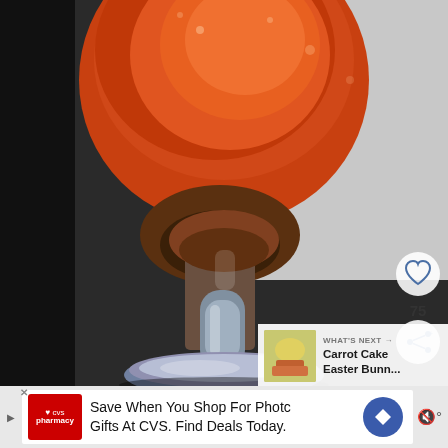[Figure (photo): Close-up photo of a stemmed glass filled with amber/red liquid (beer or cocktail), showing the base and stem of the glass in detail on a dark surface]
[Figure (infographic): UI overlay on photo: heart/like icon button with count of 75, and a share icon button]
[Figure (infographic): What's Next thumbnail panel showing 'Carrot Cake Easter Bunn...' with a small food photo thumbnail]
[Figure (infographic): Advertisement bar at bottom: CVS Pharmacy ad reading 'Save When You Shop For Photo Gifts At CVS. Find Deals Today.']